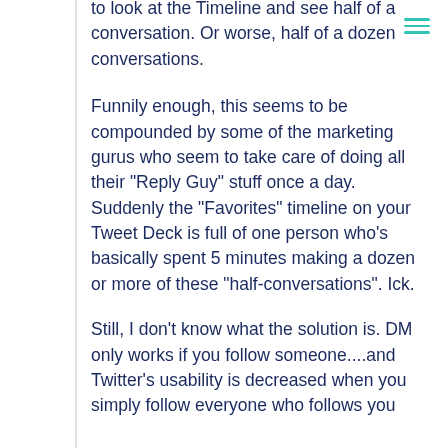[Figure (other): Hamburger menu icon (three horizontal teal lines) in top-right corner]
to look at the Timeline and see half of a conversation. Or worse, half of a dozen conversations.
Funnily enough, this seems to be compounded by some of the marketing gurus who seem to take care of doing all their "Reply Guy" stuff once a day. Suddenly the "Favorites" timeline on your Tweet Deck is full of one person who's basically spent 5 minutes making a dozen or more of these "half-conversations". Ick.
Still, I don't know what the solution is. DM only works if you follow someone....and Twitter's usability is decreased when you simply follow everyone who follows you